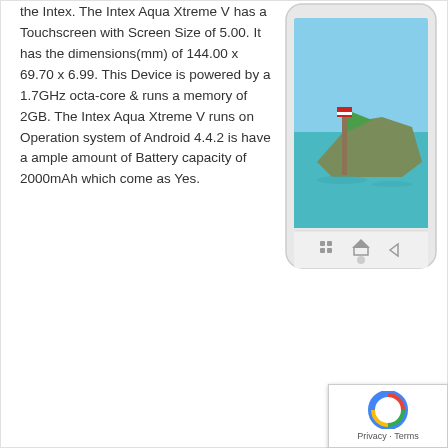the Intex. The Intex Aqua Xtreme V has a Touchscreen with Screen Size of 5.00. It has the dimensions(mm) of 144.00 x 69.70 x 6.99. This Device is powered by a 1.7GHz octa-core & runs a memory of 2GB. The Intex Aqua Xtreme V runs on Operation system of Android 4.4.2 is have a ample amount of Battery capacity of 2000mAh which come as Yes.
[Figure (photo): White smartphone (Intex Aqua Xtreme V) showing a Thai longtail boat on turquoise water as the wallpaper, with navigation buttons at the bottom.]
[Figure (logo): reCAPTCHA badge with Privacy and Terms text]